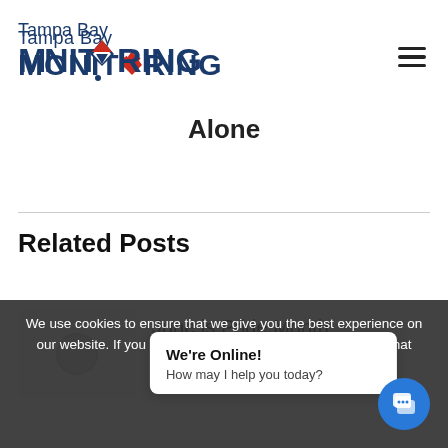[Figure (logo): Tampa Bay Monitoring logo with red arrow and blue text]
Alone
Related Posts
[Figure (photo): Thumbnail placeholder image for June is Pride Month post]
June is Pride Month
June 6, 2022
We use cookies to ensure that we give you the best experience on our website. If you continue to use this site we will assume that you are happy with it.
We're Online!
How may I help you today?